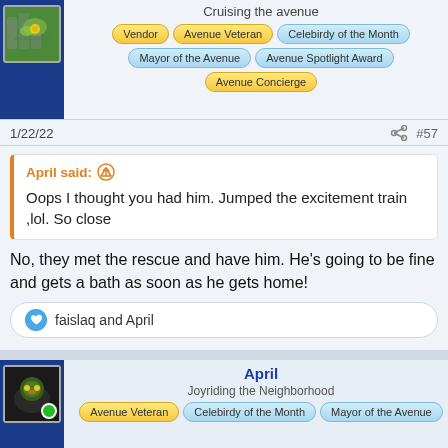Cruising the avenue
Vendor
Avenue Veteran
Celebirdy of the Month
Mayor of the Avenue
Avenue Spotlight Award
Avenue Concierge
1/22/22
#57
April said:
Oops I thought you had him. Jumped the excitement train ,lol. So close
No, they met the rescue and have him. He's going to be fine and gets a bath as soon as he gets home!
faislaq and April
April
Joyriding the Neighborhood
Avenue Veteran
Celebirdy of the Month
Mayor of the Avenue